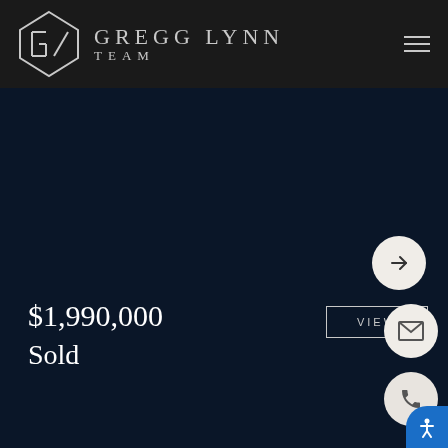GREGG LYNN TEAM
[Figure (logo): Gregg Lynn Team logo with stylized GL diamond shape and text]
$1,990,000
Sold
[Figure (infographic): Right-side floating action buttons: arrow navigation, VIEW button with border, email envelope icon, phone icon, accessibility icon]